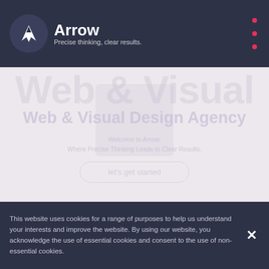[Figure (logo): Arrow agency logo with white arrow icon and wordmark 'Arrow' with tagline 'Precise thinking, clear results.']
Web & Visual Design Agency
Welcome to Arrow:
Where Precise Thinking Leads to Clear Results.
let's get started
This website uses cookies for a range of purposes to help us understand your interests and improve the website. By using our website, you acknowledge the use of essential cookies and consent to the use of non-essential cookies.